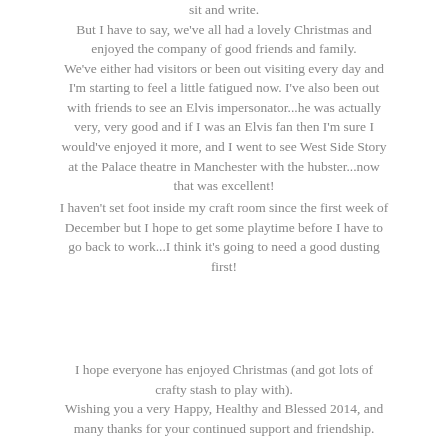sit and write. But I have to say, we've all had a lovely Christmas and enjoyed the company of good friends and family. We've either had visitors or been out visiting every day and I'm starting to feel a little fatigued now. I've also been out with friends to see an Elvis impersonator...he was actually very, very good and if I was an Elvis fan then I'm sure I would've enjoyed it more, and I went to see West Side Story at the Palace theatre in Manchester with the hubster...now that was excellent!
I haven't set foot inside my craft room since the first week of December but I hope to get some playtime before I have to go back to work...I think it's going to need a good dusting first!
I hope everyone has enjoyed Christmas (and got lots of crafty stash to play with). Wishing you a very Happy, Healthy and Blessed 2014, and many thanks for your continued support and friendship.